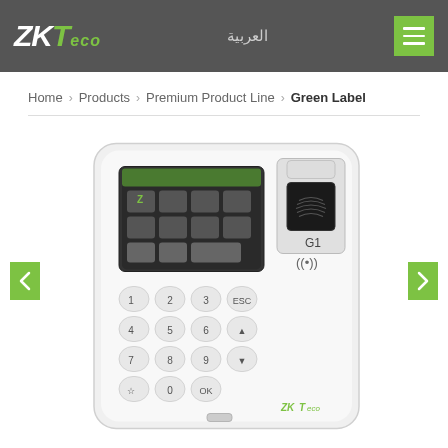ZKTeco — العربية [navigation menu]
Home > Products > Premium Product Line > Green Label
[Figure (photo): ZKTeco G1 biometric fingerprint time attendance terminal device, white casing, with keypad, touch screen, fingerprint scanner, RFID reader and ZKTeco logo]